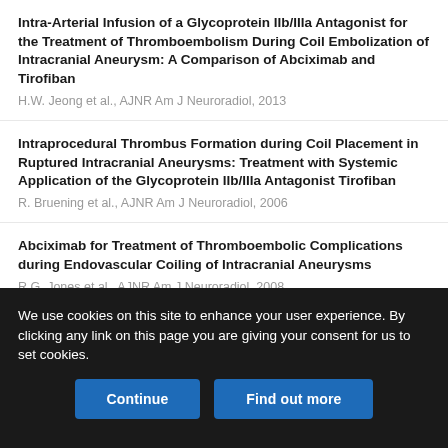Intra-Arterial Infusion of a Glycoprotein IIb/IIIa Antagonist for the Treatment of Thromboembolism During Coil Embolization of Intracranial Aneurysm: A Comparison of Abciximab and Tirofiban
H.W. Jeong et al., AJNR Am J Neuroradiol, 2013
Intraprocedural Thrombus Formation during Coil Placement in Ruptured Intracranial Aneurysms: Treatment with Systemic Application of the Glycoprotein IIb/IIIa Antagonist Tirofiban
R. Bruening et al., AJNR Am J Neuroradiol, 2006
Abciximab for Treatment of Thromboembolic Complications during Endovascular Coiling of Intracranial Aneurysms
R.G. Jones et al., AJNR Am J Neuroradiol, 2008
Use of Glycoprotein IIb-IIIa Inhibitor for a Thromboembolic Complication during Guglielmi Detachable Coil Treatment of an Acutely Ruptured Aneurysm
Perry P. Ng et al., AJNR Am J Neuroradiol, 2001
We use cookies on this site to enhance your user experience. By clicking any link on this page you are giving your consent for us to set cookies.